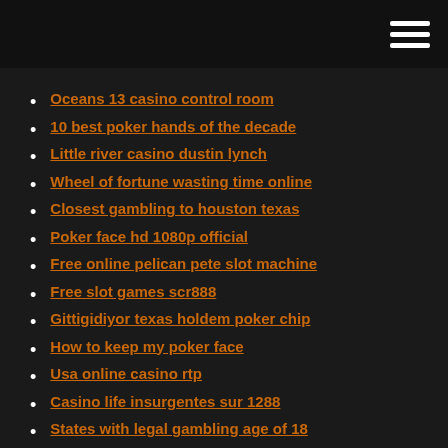Oceans 13 casino control room
10 best poker hands of the decade
Little river casino dustin lynch
Wheel of fortune wasting time online
Closest gambling to houston texas
Poker face hd 1080p official
Free online pelican pete slot machine
Free slot games scr888
Gittigidiyor texas holdem poker chip
How to keep my poker face
Usa online casino rtp
Casino life insurgentes sur 1288
States with legal gambling age of 18
Phoenix poker room bengaluru karnataka